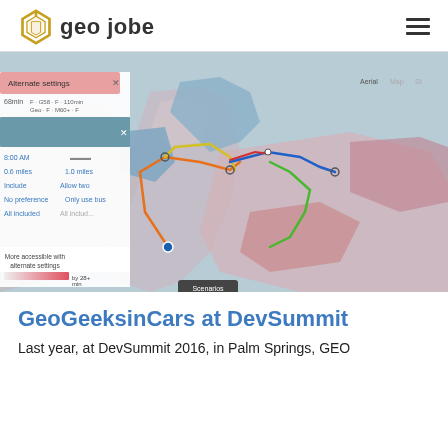geo jobe
[Figure (map): A map of the New York City area showing transit routes in multiple colors (orange, yellow, blue, green, red) overlaid on a choropleth map with pink/red shading indicating accessibility. A panel on the left shows route settings including '68min', '0.6 miles', '1.0 miles', 'Include', 'Allow two', 'No preference', 'Only use bus', 'All included'. The bottom left shows 'More accessible with alternate settings by 28+ min'. A 'Scenarios' button appears at the bottom center.]
GeoGeeksinCars at DevSummit
Last year, at DevSummit 2016, in Palm Springs, GEO